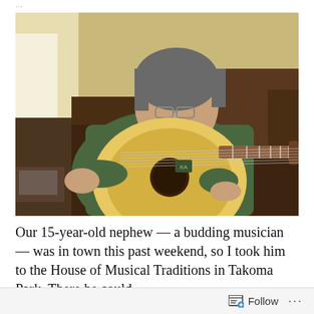...
[Figure (photo): A middle-aged man with gray hair wearing a green long-sleeve shirt sits on a dark brown leather couch playing a large acoustic guitar. He is looking down at the guitar.]
Our 15-year-old nephew — a budding musician — was in town this past weekend, so I took him to the House of Musical Traditions in Takoma Park. There he could